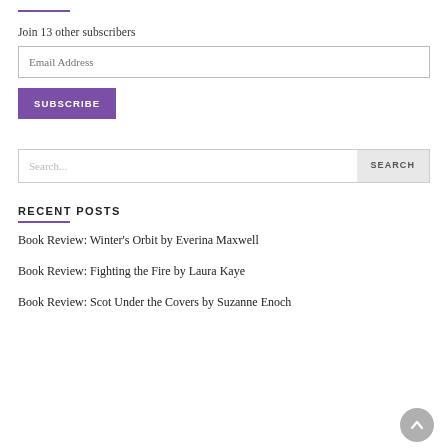Join 13 other subscribers
Email Address
SUBSCRIBE
Search...
SEARCH
RECENT POSTS
Book Review: Winter's Orbit by Everina Maxwell
Book Review: Fighting the Fire by Laura Kaye
Book Review: Scot Under the Covers by Suzanne Enoch